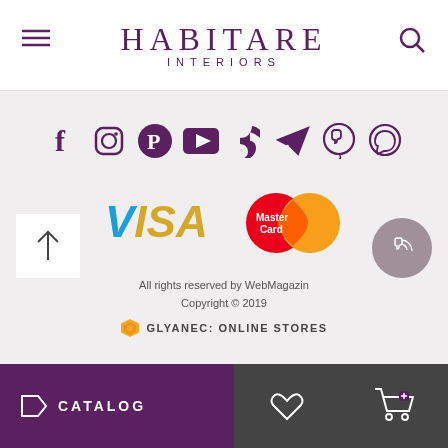[Figure (logo): Habitare Interiors logo with hamburger menu icon on left and search icon on right]
[Figure (infographic): Social media icons row: Facebook, Instagram, Pinterest, YouTube, TikTok, Telegram, Viber, WhatsApp — all in purple/dark color]
[Figure (infographic): Payment icons: VISA (blue/gold text) and MasterCard (red/orange overlapping circles logo)]
All rights reserved by WebMagazin
Copyright © 2019
[Figure (logo): Glyanec: Online Stores logo with orange hexagon icon]
[Figure (infographic): Bottom navigation bar: purple CATALOG section with tag icon on left, dark gray section with heart icon and shopping cart icon on right]